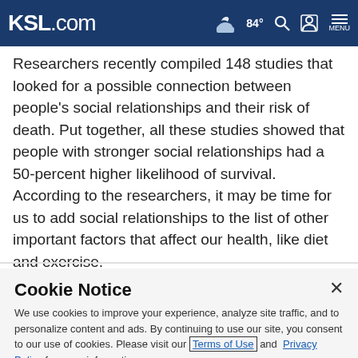KSL.com | 84° | Search | Account | MENU
Researchers recently compiled 148 studies that looked for a possible connection between people's social relationships and their risk of death. Put together, all these studies showed that people with stronger social relationships had a 50-percent higher likelihood of survival. According to the researchers, it may be time for us to add social relationships to the list of other important factors that affect our health, like diet and exercise.
Cookie Notice
We use cookies to improve your experience, analyze site traffic, and to personalize content and ads. By continuing to use our site, you consent to our use of cookies. Please visit our Terms of Use and Privacy Policy for more information.
Continue